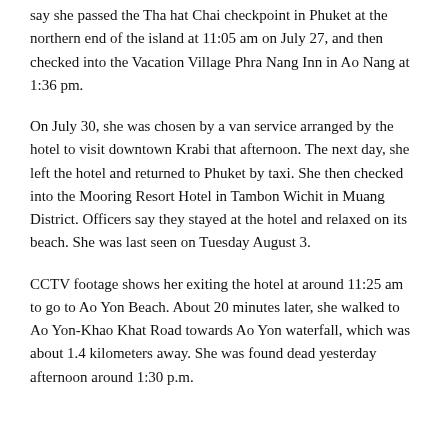say she passed the Tha hat Chai checkpoint in Phuket at the northern end of the island at 11:05 am on July 27, and then checked into the Vacation Village Phra Nang Inn in Ao Nang at 1:36 pm.
On July 30, she was chosen by a van service arranged by the hotel to visit downtown Krabi that afternoon. The next day, she left the hotel and returned to Phuket by taxi. She then checked into the Mooring Resort Hotel in Tambon Wichit in Muang District. Officers say they stayed at the hotel and relaxed on its beach. She was last seen on Tuesday August 3.
CCTV footage shows her exiting the hotel at around 11:25 am to go to Ao Yon Beach. About 20 minutes later, she walked to Ao Yon-Khao Khat Road towards Ao Yon waterfall, which was about 1.4 kilometers away. She was found dead yesterday afternoon around 1:30 p.m.